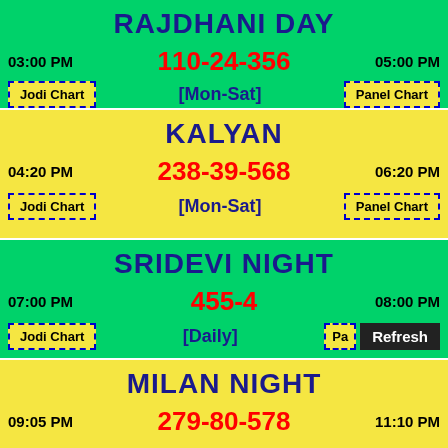RAJDHANI DAY
110-24-356
03:00 PM   [Mon-Sat]   05:00 PM
Jodi Chart   Panel Chart
KALYAN
238-39-568
04:20 PM   [Mon-Sat]   06:20 PM
Jodi Chart   Panel Chart
SRIDEVI NIGHT
455-4
07:00 PM   [Daily]   08:00 PM
Jodi Chart   Panel Chart   Refresh
MILAN NIGHT
279-80-578
09:05 PM   11:10 PM